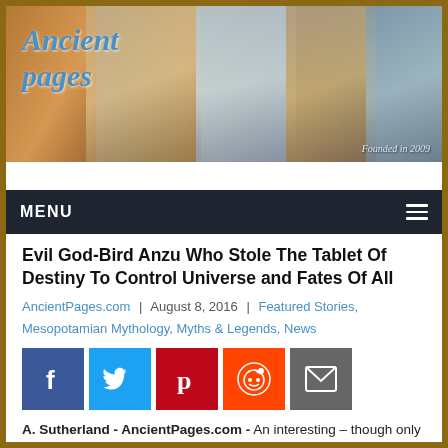[Figure (illustration): Ancient Pages website banner showing a Viking ship, Egyptian pharaoh, Buddha statue, bearded warrior/king, and a stone idol figure. Text reads 'Ancient pages' in blue italic. Founded in 2009 watermark bottom right.]
MENU
Evil God-Bird Anzu Who Stole The Tablet Of Destiny To Control Universe and Fates Of All
AncientPages.com | August 8, 2016 | Featured Stories, Mesopotamian Mythology, Myths & Legends, News
[Figure (infographic): Social media sharing buttons: Facebook (blue), Twitter (light blue), Pinterest (red), Reddit (orange), Email (gray)]
A. Sutherland - AncientPages.com - An interesting – though only fragmentary – Babylonian myth tells the story of Anzu/Zu ('the wise one'), the bird-god, whose home is the underworld.